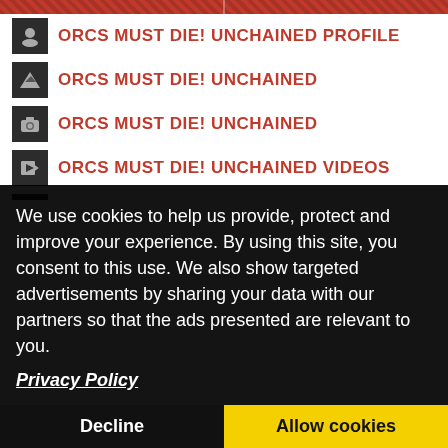[Figure (screenshot): Red decorative bar at top of page with diagonal pattern]
ORCS MUST DIE! UNCHAINED PROFILE
ORCS MUST DIE! UNCHAINED
ORCS MUST DIE! UNCHAINED
ORCS MUST DIE! UNCHAINED VIDEOS
ORCS MUST DIE! UNCHAINED REVIEW
We use cookies to help us provide, protect and improve your experience. By using this site, you consent to this use. We also show targeted advertisements by sharing your data with our partners so that the ads presented are relevant to you.
Privacy Policy
Decline
Allow cookies